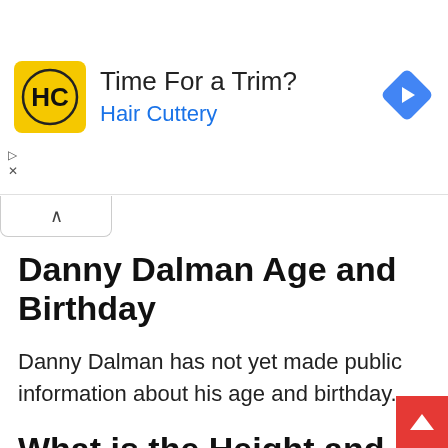[Figure (other): Hair Cuttery advertisement banner with yellow logo showing 'HC', text 'Time For a Trim?' and 'Hair Cuttery' in blue, and a blue navigation arrow diamond icon on the right.]
Danny Dalman Age and Birthday
Danny Dalman has not yet made public information about his age and birthday.
What is the Height and Weight of Danny Dalman?
He stands at an average height of 6 feet 0